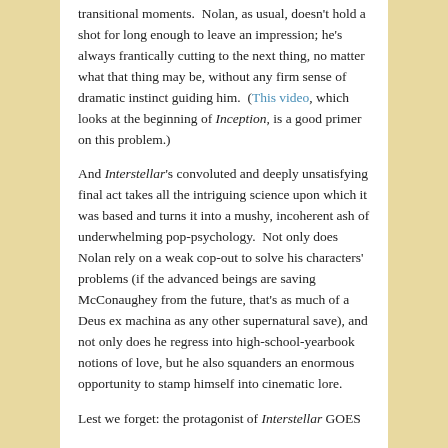transitional moments.  Nolan, as usual, doesn't hold a shot for long enough to leave an impression; he's always frantically cutting to the next thing, no matter what that thing may be, without any firm sense of dramatic instinct guiding him.  (This video, which looks at the beginning of Inception, is a good primer on this problem.)
And Interstellar's convoluted and deeply unsatisfying final act takes all the intriguing science upon which it was based and turns it into a mushy, incoherent ash of underwhelming pop-psychology.  Not only does Nolan rely on a weak cop-out to solve his characters' problems (if the advanced beings are saving McConaughey from the future, that's as much of a Deus ex machina as any other supernatural save), and not only does he regress into high-school-yearbook notions of love, but he also squanders an enormous opportunity to stamp himself into cinematic lore.
Lest we forget: the protagonist of Interstellar GOES